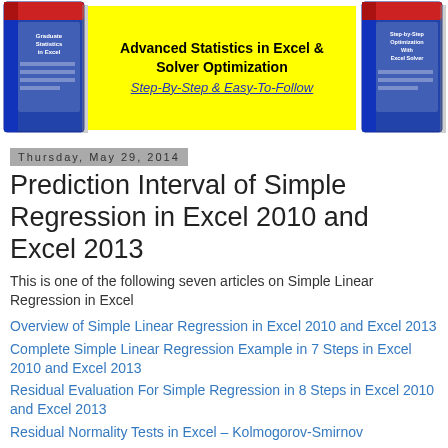[Figure (illustration): Banner with two book covers on left and right sides and a yellow center panel with text 'Advanced Statistics in Excel & Solver Optimization' and italic underlined text 'Step-By-Step & Easy-To-Follow']
Thursday, May 29, 2014
Prediction Interval of Simple Regression in Excel 2010 and Excel 2013
This is one of the following seven articles on Simple Linear Regression in Excel
Overview of Simple Linear Regression in Excel 2010 and Excel 2013
Complete Simple Linear Regression Example in 7 Steps in Excel 2010 and Excel 2013
Residual Evaluation For Simple Regression in 8 Steps in Excel 2010 and Excel 2013
Residual Normality Tests in Excel – Kolmogorov-Smirnov